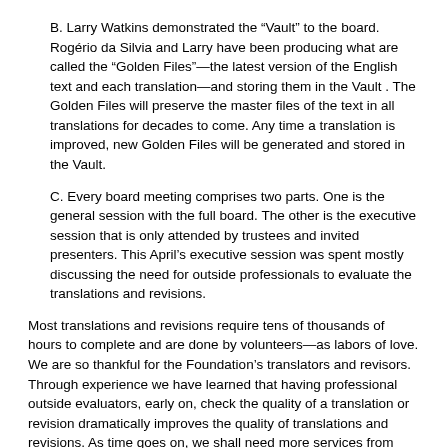B. Larry Watkins demonstrated the “Vault” to the board. Rogério da Silvia and Larry have been producing what are called the “Golden Files”—the latest version of the English text and each translation—and storing them in the Vault . The Golden Files will preserve the master files of the text in all translations for decades to come. Any time a translation is improved, new Golden Files will be generated and stored in the Vault.
C. Every board meeting comprises two parts. One is the general session with the full board. The other is the executive session that is only attended by trustees and invited presenters. This April’s executive session was spent mostly discussing the need for outside professionals to evaluate the translations and revisions.
Most translations and revisions require tens of thousands of hours to complete and are done by volunteers—as labors of love. We are so thankful for the Foundation’s translators and revisors. Through experience we have learned that having professional outside evaluators, early on, check the quality of a translation or revision dramatically improves the quality of translations and revisions. As time goes on, we shall need more services from professional evaluators. We view it as our duty to publish translations that are as beautiful and as true to the original as is possible.
3. Education
Georges Michelson-Dupont and Ralph Zehr reported that the interest in, and attendance of, the Urantia Book Internet School (UBIS) classes are exploding. To date, over 1,050 students have taken classes since the inception of UBIS. Attendees have come from over 176 countries spanning five continents. Classes are offered in English, Spanish, and French, with